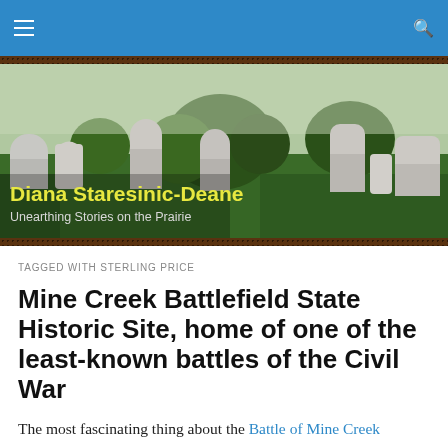Diana Staresinic-Deane — Unearthing Stories on the Prairie
[Figure (photo): Cemetery scene with multiple old gravestones on a green grassy lawn, with trees in background. Overlaid text reads 'Diana Staresinic-Deane / Unearthing Stories on the Prairie'.]
TAGGED WITH STERLING PRICE
Mine Creek Battlefield State Historic Site, home of one of the least-known battles of the Civil War
The most fascinating thing about the Battle of Mine Creek